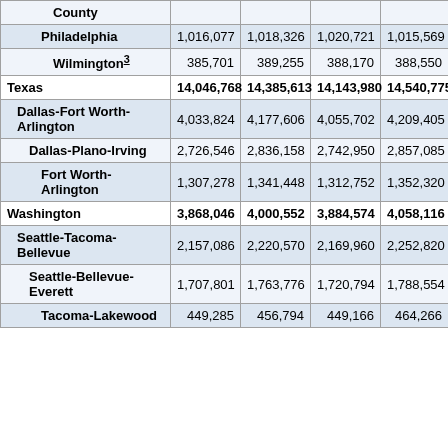| County |  |  |  |  |
| --- | --- | --- | --- | --- |
| Philadelphia | 1,016,077 | 1,018,326 | 1,020,721 | 1,015,569 |
| Wilmington(3) | 385,701 | 389,255 | 388,170 | 388,550 |
| Texas | 14,046,768 | 14,385,613 | 14,143,980 | 14,540,775 |
| Dallas-Fort Worth-Arlington | 4,033,824 | 4,177,606 | 4,055,702 | 4,209,405 |
| Dallas-Plano-Irving | 2,726,546 | 2,836,158 | 2,742,950 | 2,857,085 |
| Fort Worth-Arlington | 1,307,278 | 1,341,448 | 1,312,752 | 1,352,320 |
| Washington | 3,868,046 | 4,000,552 | 3,884,574 | 4,058,116 |
| Seattle-Tacoma-Bellevue | 2,157,086 | 2,220,570 | 2,169,960 | 2,252,820 |
| Seattle-Bellevue-Everett | 1,707,801 | 1,763,776 | 1,720,794 | 1,788,554 |
| Tacoma-Lakewood | 449,285 | 456,794 | 449,166 | 464,266 |